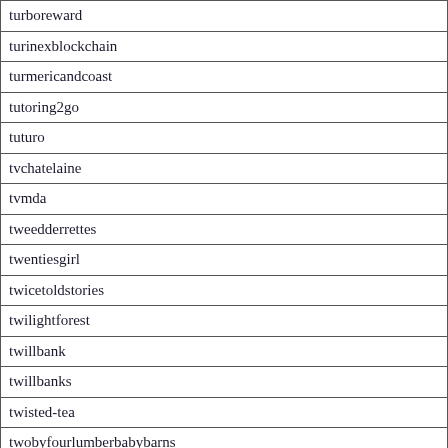| turboreward |
| turinexblockchain |
| turmericandcoast |
| tutoring2go |
| tuturo |
| tvchatelaine |
| tvmda |
| tweedderrettes |
| twentiesgirl |
| twicetoldstories |
| twilightforest |
| twillbank |
| twillbanks |
| twisted-tea |
| twobyfourlumberbabybarns |
|  |